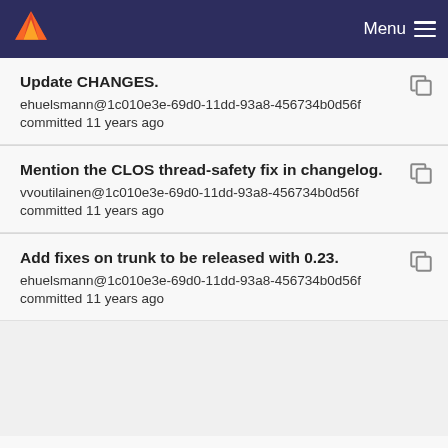Menu
Update CHANGES.
ehuelsmann@1c010e3e-69d0-11dd-93a8-456734b0d56f
committed 11 years ago
Mention the CLOS thread-safety fix in changelog.
vvoutilainen@1c010e3e-69d0-11dd-93a8-456734b0d56f
committed 11 years ago
Add fixes on trunk to be released with 0.23.
ehuelsmann@1c010e3e-69d0-11dd-93a8-456734b0d56f
committed 11 years ago
Update CHANGES with trunk progress.
ehuelsmann@1c010e3e-69d0-11dd-93a8-456734b0d56f
committed 11 years ago